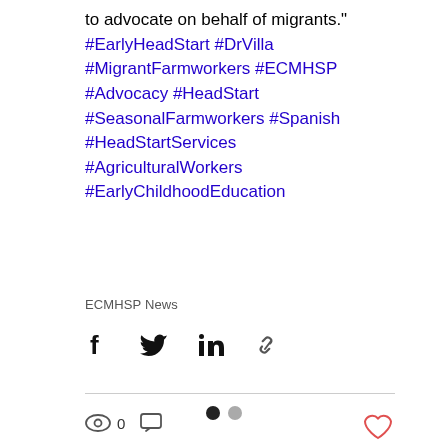to advocate on behalf of migrants." #EarlyHeadStart #DrVilla #MigrantFarmworkers #ECMHSP #Advocacy #HeadStart #SeasonalFarmworkers #Spanish #HeadStartServices #AgriculturalWorkers #EarlyChildhoodEducation
ECMHSP News
[Figure (infographic): Social media share buttons: Facebook, Twitter, LinkedIn, and link icons]
[Figure (infographic): Engagement stats row: eye icon with 0 views, comment icon, and a heart/like button on the right]
[Figure (infographic): Pagination dots: one filled black dot and one grey dot]